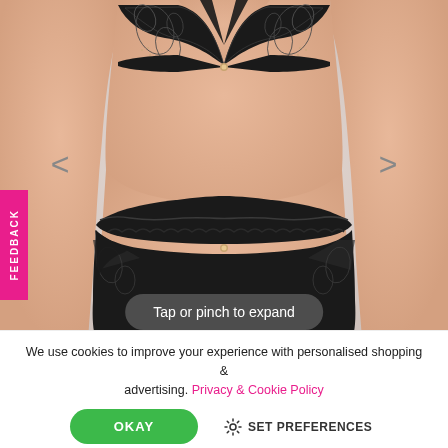[Figure (photo): A plus-size model wearing a black lace lingerie set consisting of a deep-V triangle bra with lace detailing and matching high-waisted briefs with lace trim. The photo is cropped to show the torso area against a light background.]
Tap or pinch to expand
FEEDBACK
We use cookies to improve your experience with personalised shopping & advertising. Privacy & Cookie Policy
OKAY
SET PREFERENCES